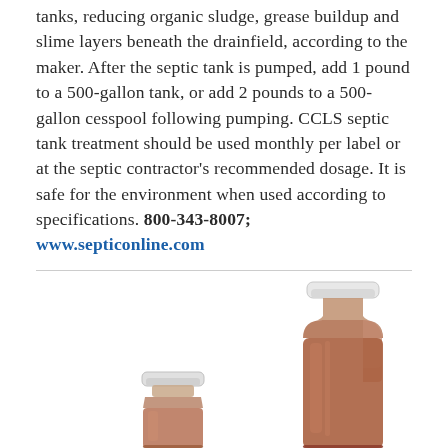tanks, reducing organic sludge, grease buildup and slime layers beneath the drainfield, according to the maker. After the septic tank is pumped, add 1 pound to a 500-gallon tank, or add 2 pounds to a 500-gallon cesspool following pumping. CCLS septic tank treatment should be used monthly per label or at the septic contractor's recommended dosage. It is safe for the environment when used according to specifications. 800-343-8007; www.septiconline.com
[Figure (photo): Two bottles of liquid septic tank treatment solution — a smaller bottle on the left and a larger gallon jug on the right, both containing reddish-brown liquid and white caps, on a white background.]